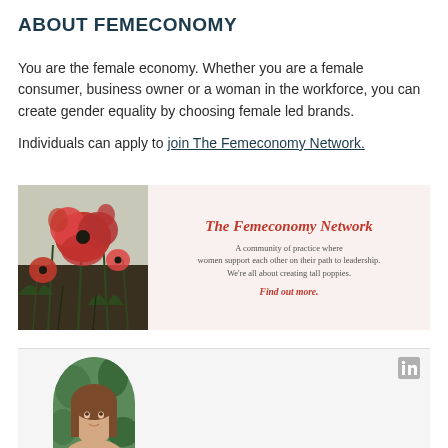ABOUT FEMECONOMY
You are the female economy. Whether you are a female consumer, business owner or a woman in the workforce, you can create gender equality by choosing female led brands.
Individuals can apply to join The Femeconomy Network.
[Figure (infographic): Banner for The Femeconomy Network showing red poppies on the left and text on a light pink background: 'The Femeconomy Network - A community of practice where women support each other on their path to leadership. We're all about creating tall poppies. Find out more.']
[Figure (photo): Bottom section showing a circular profile photo of a woman with brown hair against a green leafy background, with a LinkedIn icon in the top right corner]